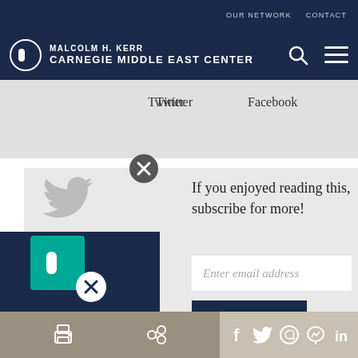OUR NETWORK   CONTACT
MALCOLM H. KERR
CARNEGIE MIDDLE EAST CENTER
Twitter
Facebook
If you enjoyed reading this, subscribe for more!
Enter email address
Submit ▶